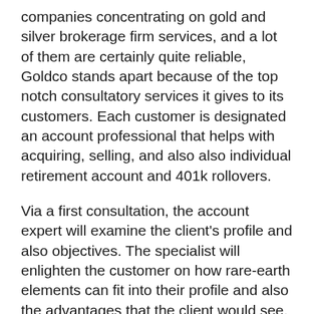companies concentrating on gold and silver brokerage firm services, and a lot of them are certainly quite reliable, Goldco stands apart because of the top notch consultatory services it gives to its customers. Each customer is designated an account professional that helps with acquiring, selling, and also also individual retirement account and 401k rollovers.
Via a first consultation, the account expert will examine the client's profile and also objectives. The specialist will enlighten the customer on how rare-earth elements can fit into their profile and also the advantages that the client would see.
What Provider Does Goldco Give?